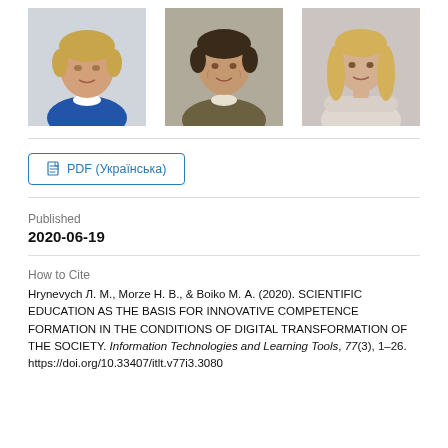[Figure (photo): Three headshot photos of women side by side: left woman with short blonde hair in blue blazer; center woman with short dark hair in olive/brown jacket seated at desk; right woman with long blonde hair in light blouse with arms crossed.]
PDF (Українська)
Published
2020-06-19
How to Cite
Hrynevych Л. М., Morze Н. В., & Boiko М. А. (2020). SCIENTIFIC EDUCATION AS THE BASIS FOR INNOVATIVE COMPETENCE FORMATION IN THE CONDITIONS OF DIGITAL TRANSFORMATION OF THE SOCIETY. Information Technologies and Learning Tools, 77(3), 1–26. https://doi.org/10.33407/itlt.v77i3.3080